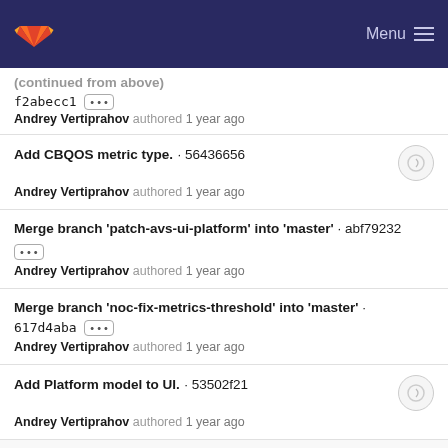GitLab — Menu
f2abecc1 ··· Andrey Vertiprahov authored 1 year ago
Add CBQOS metric type. · 56436656 — Andrey Vertiprahov authored 1 year ago
Merge branch 'patch-avs-ui-platform' into 'master' · abf79232 ··· — Andrey Vertiprahov authored 1 year ago
Merge branch 'noc-fix-metrics-threshold' into 'master' · 617d4aba ··· — Andrey Vertiprahov authored 1 year ago
Add Platform model to UI. · 53502f21 — Andrey Vertiprahov authored 1 year ago
17 May, 2021 10 commits
(partial item cut off at bottom)